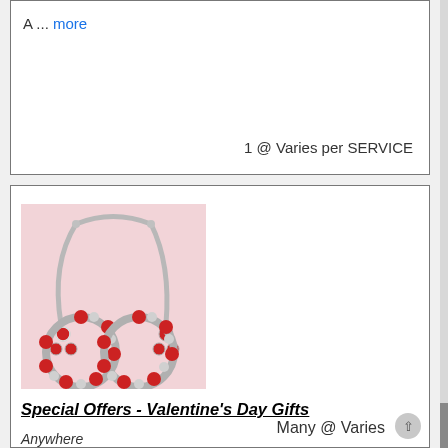A ... more
1 @ Varies per SERVICE
[Figure (photo): Photo of Valentine's Day jewelry set including red and silver beaded bracelets and earrings on a pink background with a silver jewelry display stand]
Special Offers - Valentine's Day Gifts
Anywhere
Special Offers - Valentine's Day Gifts Special Offers: Buy 3 Bracelets or Necklaces Get 1 Free - Any Styles! OR Buy 3 Sets Get 1 Set Free. Expires Jan.. 28th Vi ... more
Many @ Varies